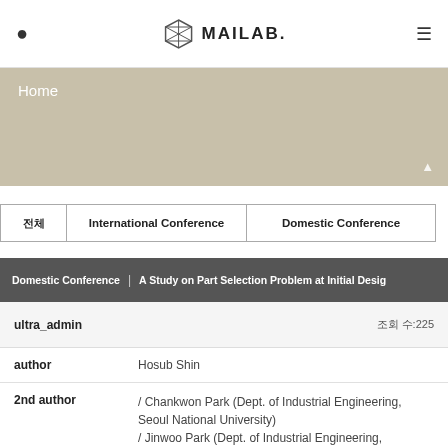MAILAB.
Home
전체  International Conference  Domestic Conference
Domestic Conference | A Study on Part Selection Problem at Initial Design
ultra_admin  조회 수:225
| Field | Value |
| --- | --- |
| author | Hosub Shin |
| 2nd author | / Chankwon Park (Dept. of Industrial Engineering, Seoul National University)
/ Jinwoo Park (Dept. of Industrial Engineering, |